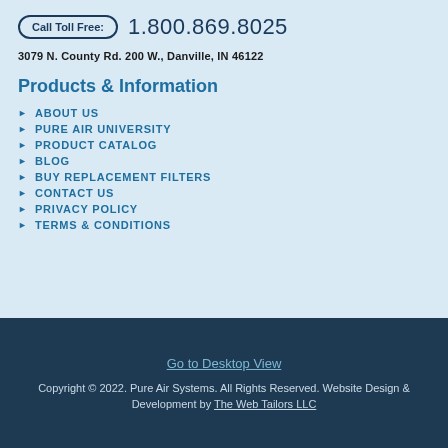Call Toll Free: 1.800.869.8025
3079 N. County Rd. 200 W., Danville, IN 46122
Products & Information
ABOUT US
PURE AIR UNIVERSITY
PRODUCT CATALOG
BLOG
BUY REPLACEMENT FILTERS
CONTACT US
PRIVACY POLICY
TERMS & CONDITIONS
Go to Desktop View
Copyright © 2022. Pure Air Systems. All Rights Reserved. Website Design & Development by The Web Tailors LLC